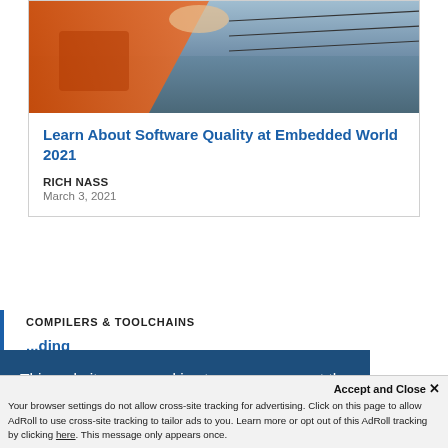[Figure (photo): Person in orange safety gear on a boat or offshore structure, water visible in background]
Learn About Software Quality at Embedded World 2021
RICH NASS
March 3, 2021
COMPILERS & TOOLCHAINS
...ding
This website uses cookies to ensure you get the best experience on our website.
Learn More
Accept and Close ✕
Your browser settings do not allow cross-site tracking for advertising. Click on this page to allow AdRoll to use cross-site tracking to tailor ads to you. Learn more or opt out of this AdRoll tracking by clicking here. This message only appears once.